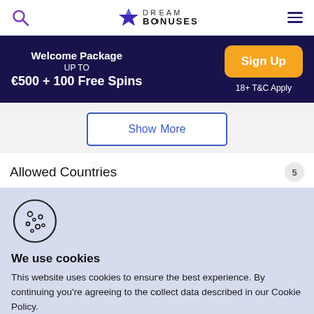Dream Bonuses
[Figure (infographic): Dream Bonuses logo with star icon and text]
Welcome Package UP TO €500 + 100 Free Spins Sign Up 18+ T&C Apply
Show More
Allowed Countries 5
[Figure (illustration): Cookie icon - circular cookie with chocolate chips]
We use cookies
This website uses cookies to ensure the best experience. By continuing you're agreeing to the collect data described in our Cookie Policy.
Got it! Yummy!